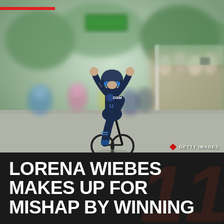[Figure (photo): Cyclist Lorena Wiebes in black DSM team kit crossing finish line with arms raised in victory, surrounded by blurred crowd and other cyclists in background. Getty Images watermark visible.]
LORENA WIEBES MAKES UP FOR MISHAP BY WINNING